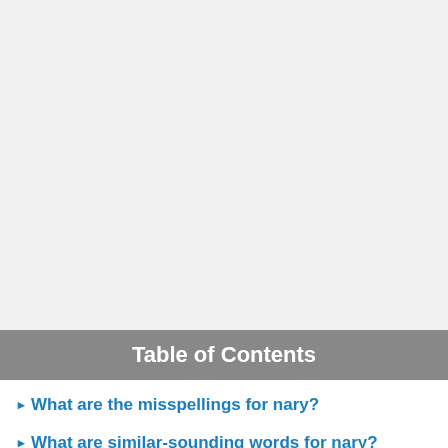Table of Contents
What are the misspellings for nary?
What are similar-sounding words for nary?
Usage over time for nary